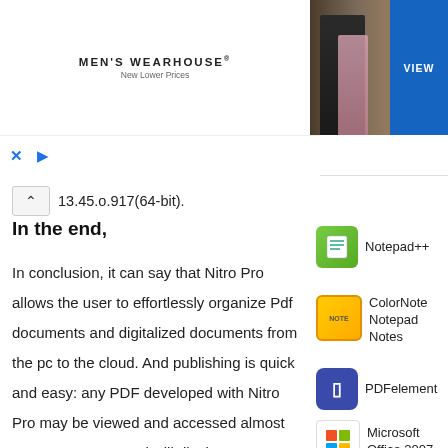[Figure (photo): Men's Wearhouse advertisement banner with couple in formal wear and man in blue suit, with VIEW button]
13.45.o.917(64-bit).
In the end,
In conclusion, it can say that Nitro Pro allows the user to effortlessly organize Pdf documents and digitalized documents from the pc to the cloud. And publishing is quick and easy: any PDF developed with Nitro Pro may be viewed and accessed almost on any structure and will display
[Figure (logo): Notepad++ app icon - green notepad]
Notepad++
[Figure (logo): ColorNote app icon - yellow notepad with NOTE text]
ColorNote Notepad Notes
[Figure (logo): PDFelement app icon - purple square with white P]
PDFelement
[Figure (logo): Microsoft Office 2007 icon - colorful grid squares]
Microsoft Office 2007
See More »
Populer Downloads